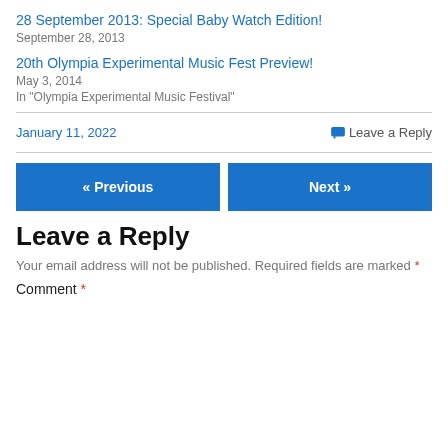28 September 2013: Special Baby Watch Edition!
September 28, 2013
20th Olympia Experimental Music Fest Preview!
May 3, 2014
In "Olympia Experimental Music Festival"
January 11, 2022
Leave a Reply
« Previous
Next »
Leave a Reply
Your email address will not be published. Required fields are marked *
Comment *